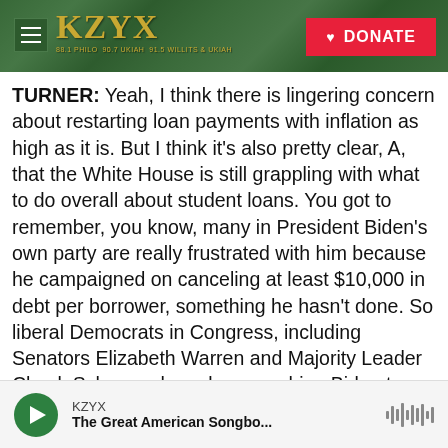[Figure (screenshot): KZYX radio station website header with green forest background, hamburger menu icon, KZYX logo in gold, and red DONATE button]
TURNER: Yeah, I think there is lingering concern about restarting loan payments with inflation as high as it is. But I think it's also pretty clear, A, that the White House is still grappling with what to do overall about student loans. You got to remember, you know, many in President Biden's own party are really frustrated with him because he campaigned on canceling at least $10,000 in debt per borrower, something he hasn't done. So liberal Democrats in Congress, including Senators Elizabeth Warren and Majority Leader Chuck Schumer, have been pushing Biden to cancel student debt. A few days before this ed department email went out, the
[Figure (screenshot): Audio player bar at bottom showing KZYX station name, The Great American Songbo... show title, green play button, and waveform icon]